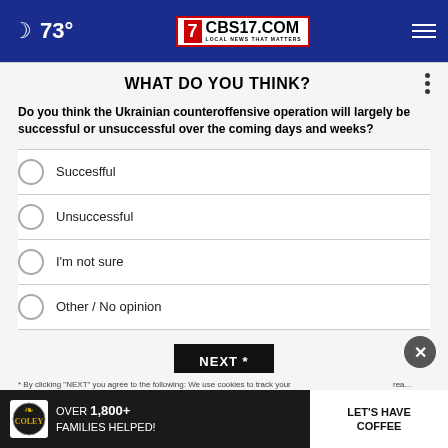🌙 73° | CBS17.COM LOCAL NEWS THAT MATTERS
WHAT DO YOU THINK?
Do you think the Ukrainian counteroffensive operation will largely be successful or unsuccessful over the coming days and weeks?
Succesfful
Unsuccessful
I'm not sure
Other / No opinion
NEXT *
* By clicking "NEXT" you agree to the following: We use cookies to track your...
[Figure (infographic): Coley Group advertisement banner: OVER 1,800+ FAMILIES HELPED! LET'S HAVE COFFEE]